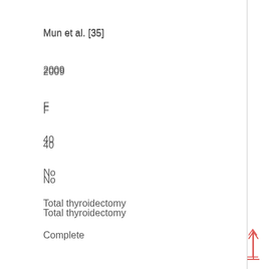Mun et al. [35]
2009
F
40
No
Total thyroidectomy
Complete
No
NA
Phitayakorn et al. [8]
2011